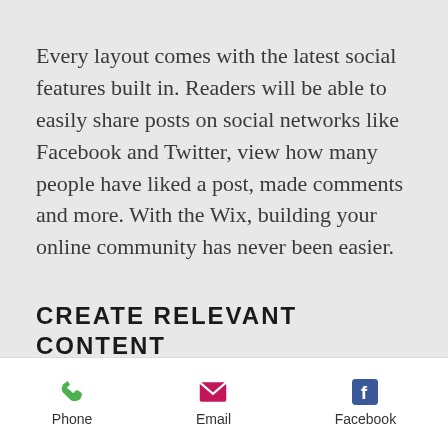Every layout comes with the latest social features built in. Readers will be able to easily share posts on social networks like Facebook and Twitter, view how many people have liked a post, made comments and more. With the Wix, building your online community has never been easier.
CREATE RELEVANT CONTENT
You'll be posting loads of engaging content, so be sure to keep your blog
Phone  Email  Facebook